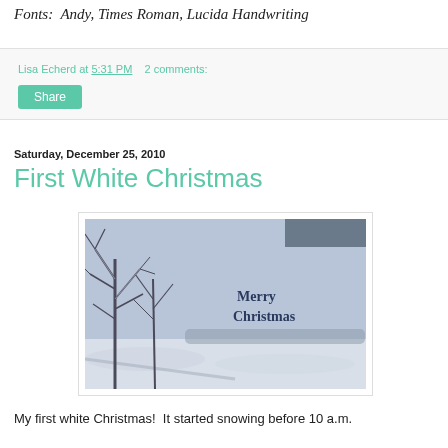Fonts:  Andy, Times Roman, Lucida Handwriting
Lisa Echerd at 5:31 PM    2 comments:
Share
Saturday, December 25, 2010
First White Christmas
[Figure (photo): A snowy outdoor winter scene with bare trees on the left and snow covering the ground. Text reading 'Merry Christmas' appears on the right side of the image.]
My first white Christmas!  It started snowing before 10 a.m.